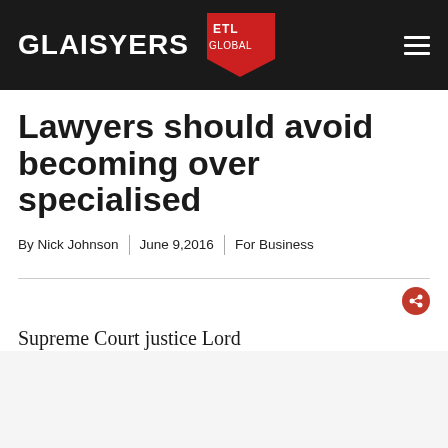[Figure (logo): Glaisyers ETL Global law firm logo on dark background with hamburger menu icon]
Lawyers should avoid becoming over specialised
By Nick Johnson | June 9, 2016 | For Business
Supreme Court justice Lord